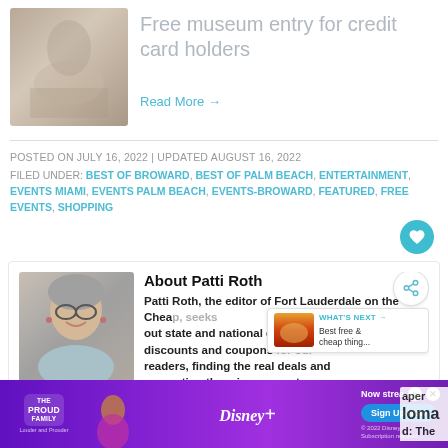[Figure (photo): Thumbnail image of museum/art exhibit scene, muted warm tones]
Free museum entry for credit card holders
Read More →
POSTED ON JULY 16, 2022 | UPDATED AUGUST 16, 2022
FILED UNDER: BEST OF BROWARD, BEST OF PALM BEACH, ENTERTAINMENT, EVENTS MIAMI, EVENTS PALM BEACH, EVENTS-BROWARD, FEATURED, FREE EVENTS, SHOPPING
[Figure (photo): Author photo of Patti Roth, a smiling woman with gray hair and glasses]
About Patti Roth
Patti Roth, the editor of Fort Lauderdale on the Cheap, seeks out state and national deals, discounts and coupons for our readers, finding the real deals and presenting them in an easy-to-paper format. Oklahoma. The
[Figure (photo): What's Next promotional overlay with sunset thumbnail image - 'Best free & cheap thing...']
[Figure (photo): Disney+ advertisement banner - The Proud Family streaming ad with Sign Up Now button]